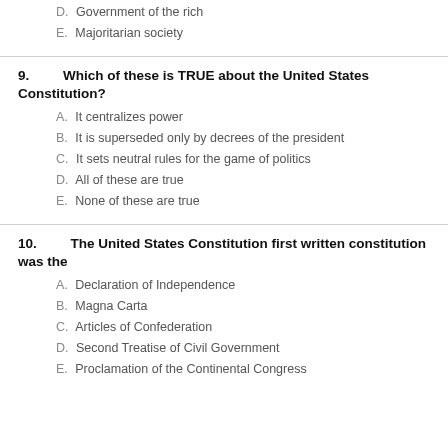D. Government of the rich
E. Majoritarian society
9. Which of these is TRUE about the United States Constitution?
A. It centralizes power
B. It is superseded only by decrees of the president
C. It sets neutral rules for the game of politics
D. All of these are true
E. None of these are true
10. The United States Constitution first written constitution was the
A. Declaration of Independence
B. Magna Carta
C. Articles of Confederation
D. Second Treatise of Civil Government
E. Proclamation of the Continental Congress